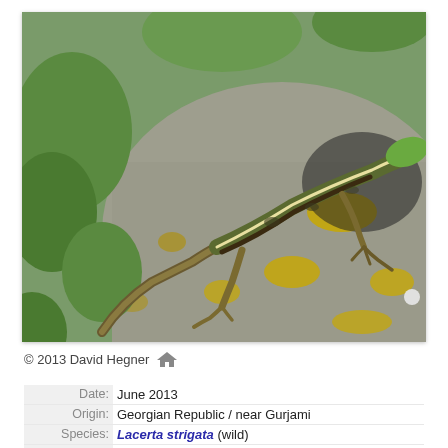[Figure (photo): A female Lacerta strigata lizard basking on a lichen-covered rock with green vegetation in the background. The lizard has a brownish-green body with lateral stripes and is photographed from above and slightly to the side.]
© 2013 David Hegner
| Date: | June 2013 |
| Origin: | Georgian Republic / near Gurjami |
| Species: | Lacerta strigata (wild) |
| Sex: | Female |